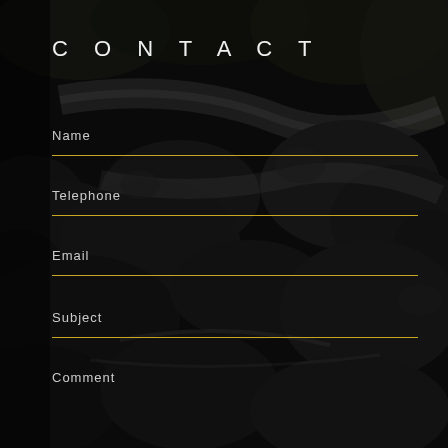[Figure (photo): Dark black-and-white background photo of a rocky stream with rushing water and large boulders, dense foliage in background]
CONTACT
Name
Telephone
Email
Subject
Comment